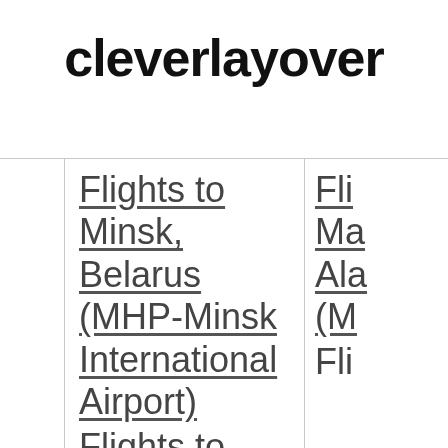cleverlayover
Flights to Minsk, Belarus (MHP-Minsk International Airport) Flights to
Fli Ma Ala (M Fli